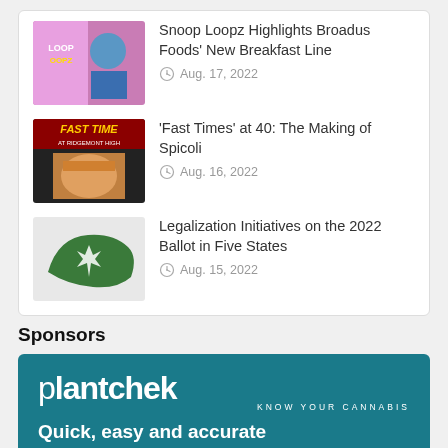Snoop Loopz Highlights Broadus Foods' New Breakfast Line — Aug. 17, 2022
'Fast Times' at 40: The Making of Spicoli — Aug. 16, 2022
Legalization Initiatives on the 2022 Ballot in Five States — Aug. 15, 2022
Sponsors
[Figure (advertisement): Plantchek advertisement. Logo reads 'plantchek KNOW YOUR CANNABIS'. Tagline: 'Quick, easy and accurate THC & CBD potency tests'. Dark teal background with THC and CBD product boxes at bottom.]